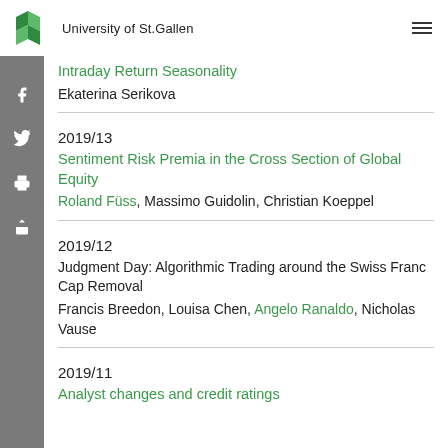University of St.Gallen
Intraday Return Seasonality
Ekaterina Serikova
2019/13
Sentiment Risk Premia in the Cross Section of Global Equity
Roland Füss, Massimo Guidolin, Christian Koeppel
2019/12
Judgment Day: Algorithmic Trading around the Swiss Franc Cap Removal
Francis Breedon, Louisa Chen, Angelo Ranaldo, Nicholas Vause
2019/11
Analyst changes and credit ratings